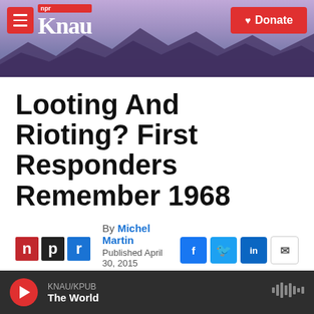[Figure (screenshot): KNAU NPR radio station website header with mountain landscape background, hamburger menu button, KNAU logo, and red Donate button]
Looting And Rioting? First Responders Remember 1968
By Michel Martin
Published April 30, 2015 at 2:10 AM MST
[Figure (logo): NPR logo in red, black, and blue]
LISTEN • 7:18
KNAU/KPUB The World